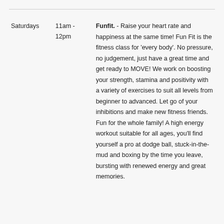| Saturdays | 11am -
12pm | Funfit. - Raise your heart rate and happiness at the same time! Fun Fit is the fitness class for ‘every body’. No pressure, no judgement, just have a great time and get ready to MOVE! We work on boosting your strength, stamina and positivity with a variety of exercises to suit all levels from beginner to advanced. Let go of your inhibitions and make new fitness friends. Fun for the whole family! A high energy workout suitable for all ages, you’ll find yourself a pro at dodge ball, stuck-in-the-mud and boxing by the time you leave, bursting with renewed energy and great memories. |